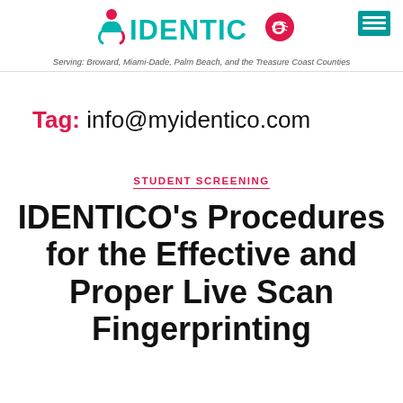IDENTICO — Serving: Broward, Miami-Dade, Palm Beach, and the Treasure Coast Counties
Tag: info@myidentico.com
STUDENT SCREENING
IDENTICO's Procedures for the Effective and Proper Live Scan Fingerprinting